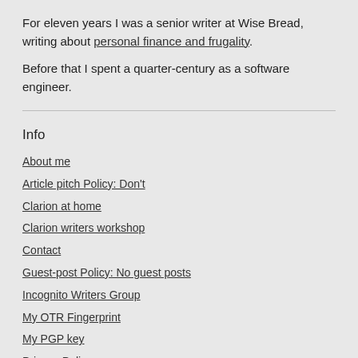For eleven years I was a senior writer at Wise Bread, writing about personal finance and frugality.
Before that I spent a quarter-century as a software engineer.
Info
About me
Article pitch Policy: Don't
Clarion at home
Clarion writers workshop
Contact
Guest-post Policy: No guest posts
Incognito Writers Group
My OTR Fingerprint
My PGP key
Privacy Policy
Story Structure in Short Stories
ToS